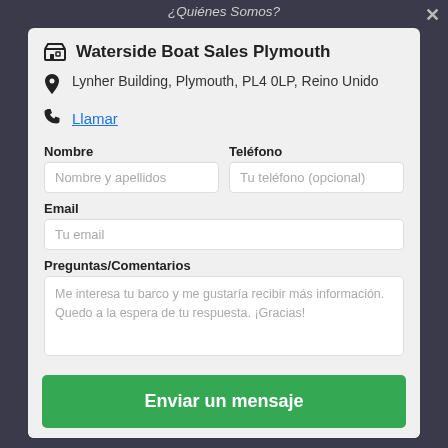¿Quiénes Somos?
Waterside Boat Sales Plymouth
Lynher Building, Plymouth, PL4 0LP, Reino Unido
Llamar
Nombre
Teléfono
Email
Preguntas/Comentarios
Me interesa tu barco y me gustaría recibir más información. Quedo a la espera de tu respuesta. ¡Gracias!
Enviar un mensaje